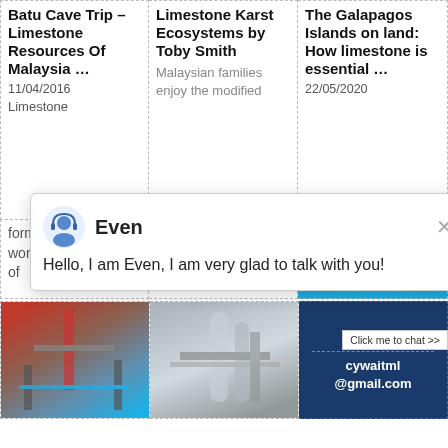Batu Cave Trip – Limestone Resources Of Malaysia …
11/04/2016
Limestone
Limestone Karst Ecosystems by Toby Smith
Malaysian families enjoy the modified
The Galapagos Islands on land: How limestone is essential …
22/05/2020
formation in the world. The formation of
the base of a limestone tower in the
Even
Hello, I am Even, I am very glad to talk with you!
[Figure (photo): Industrial machinery / crusher structure with red and blue elements]
[Figure (photo): Industrial facility with pipes and cylindrical tanks]
Enquiry
cywaitml@gmail.com
Click me to chat >>
1